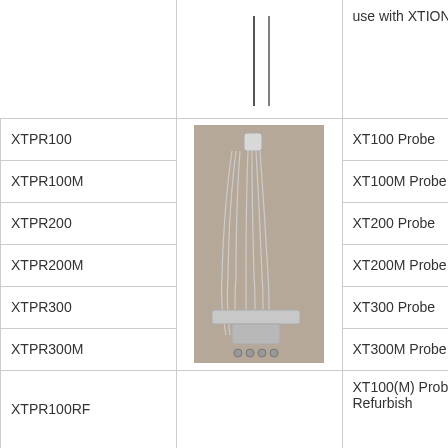| Part Number | Image | Description | Price |
| --- | --- | --- | --- |
|  | (image) | use with XTIONIZER |  |
| XTPR100 |  | XT100 Probe | $2, |
| XTPR100M |  | XT100M Probe | $3, |
| XTPR200 |  | XT200 Probe | $2, |
| XTPR200M | (probe image) | XT200M Probe | $3, |
| XTPR300 |  | XT300 Probe | $3, |
| XTPR300M |  | XT300M Probe | $4, |
| XTPR100RF |  | XT100(M) Probe Refurbish | $66 |
| XTPR200RF |  | XT200(M) Probe Refurbish | $71 |